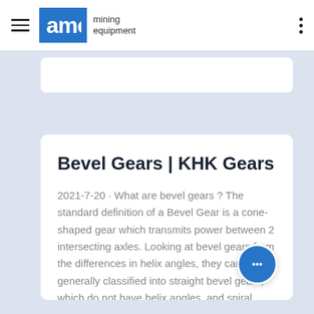AMC mining equipment
Bevel Gears | KHK Gears
2021-7-20 · What are bevel gears ? The standard definition of a Bevel Gear is a cone-shaped gear which transmits power between 2 intersecting axles. Looking at bevel gears from the differences in helix angles, they can be generally classified into straight bevel gears, which do not have helix angles, and spiral bevel gears (including zerol bevel gears...